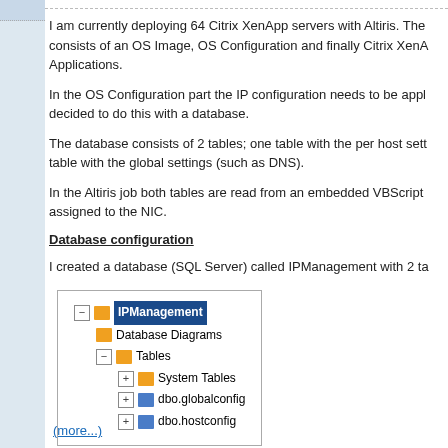I am currently deploying 64 Citrix XenApp servers with Altiris. The consists of an OS Image, OS Configuration and finally Citrix XenA Applications.
In the OS Configuration part the IP configuration needs to be appl decided to do this with a database.
The database consists of 2 tables; one table with the per host sett table with the global settings (such as DNS).
In the Altiris job both tables are read from an embedded VBScript assigned to the NIC.
Database configuration
I created a database (SQL Server) called IPManagement with 2 ta
[Figure (screenshot): SQL Server Management Studio tree view showing IPManagement database with Database Diagrams, Tables (System Tables, dbo.globalconfig, dbo.hostconfig)]
(more...)